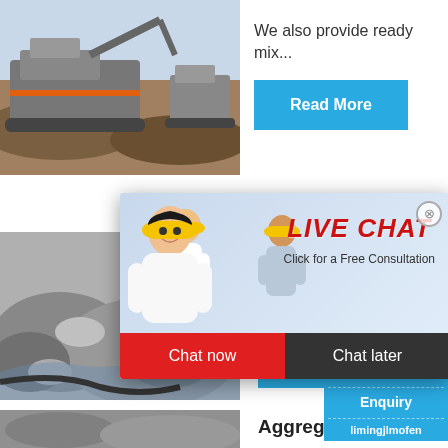[Figure (photo): Outdoor mining/quarry site with heavy machinery and excavators on dirt terrain]
We also provide ready mix...
Read More
[Figure (photo): Gray crushed stone/aggregate material pile]
[Figure (photo): Live chat popup overlay with workers wearing yellow hard hats]
LIVE CHAT
Click for a Free Consultation
Chat now
Chat later
hour online
[Figure (photo): Industrial jaw crusher machine]
Click me to chat>>
Enquiry
limingjlmofen
Read
Aggreg